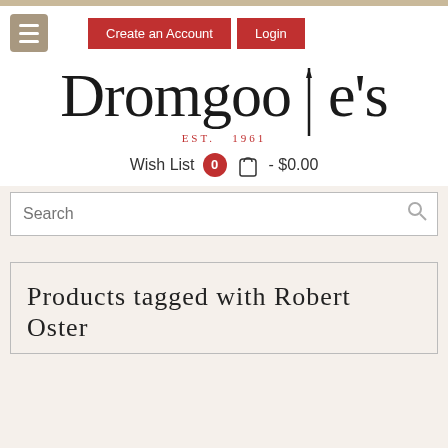[Figure (logo): Dromgoole's EST. 1961 logo with fountain pen icon]
Wish List  0  🛍 - $0.00
Search
Products tagged with Robert Oster